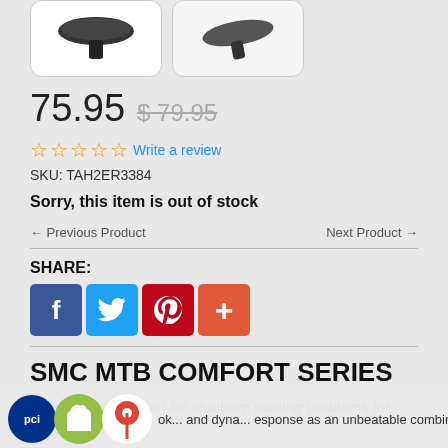[Figure (photo): Two product images (bicycle saddle/seat) shown in white rounded boxes at top]
75.95 $79.95
☆☆☆☆☆ Write a review
SKU: TAH2ER3384
Sorry, this item is out of stock
← Previous Product    Next Product →
SHARE:
[Figure (infographic): Social share buttons: Facebook (blue), Twitter (light blue), Pinterest (red), Plus (orange-red)]
SMC MTB COMFORT SERIES
The comfort solution for stubborn seating problems for mountain bikers.
...look... and dyna... response as an unbeatable combination -